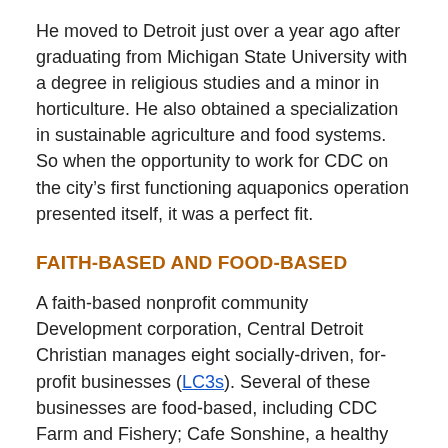He moved to Detroit just over a year ago after graduating from Michigan State University with a degree in religious studies and a minor in horticulture. He also obtained a specialization in sustainable agriculture and food systems. So when the opportunity to work for CDC on the city’s first functioning aquaponics operation presented itself, it was a perfect fit.
FAITH-BASED AND FOOD-BASED
A faith-based nonprofit community Development corporation, Central Detroit Christian manages eight socially-driven, for-profit businesses (LC3s). Several of these businesses are food-based, including CDC Farm and Fishery; Cafe Sonshine, a healthy soul food restaurant; and Peaches and Greens, a neighborhood produce market.
“The goal is to create jobs and be a force of change in the neighborhood by creating a community of choice,” says Hatinger. “We’re offering a very niche agricultural skillset to people who don’t necessarily have a good outlook for employment.”
At full production, CDC Farm and Fishery will employ